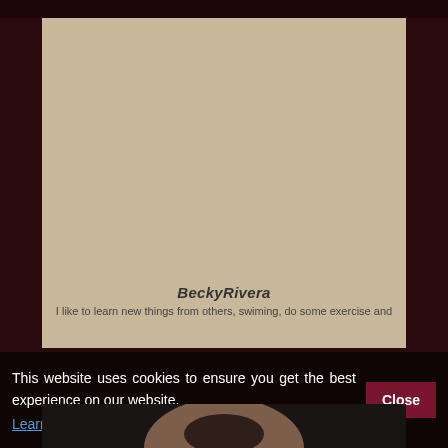[Figure (photo): Woman in black lingerie posing on white furniture, dark studio background]
BeckyRivera
I like to learn new things from others, swiming, do some exercise and
This website uses cookies to ensure you get the best experience on our website. Learn more
[Figure (photo): Partial thumbnail of another model, bottom of page]